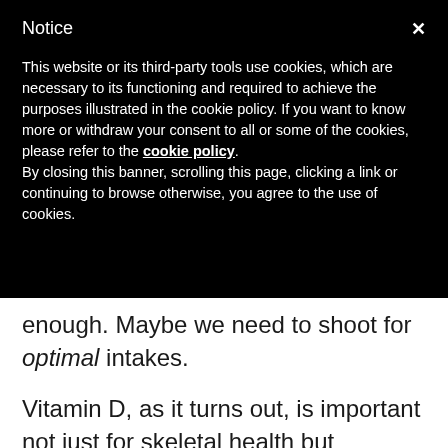Notice
This website or its third-party tools use cookies, which are necessary to its functioning and required to achieve the purposes illustrated in the cookie policy. If you want to know more or withdraw your consent to all or some of the cookies, please refer to the cookie policy.
By closing this banner, scrolling this page, clicking a link or continuing to browse otherwise, you agree to the use of cookies.
enough. Maybe we need to shoot for optimal intakes.
Vitamin D, as it turns out, is important not just for skeletal health but deficiency has been linked to infectious diseases such as tuberculosis; cancers such as leukemia and colorectal, ovarian, and